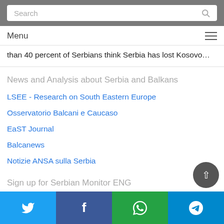Search
Menu
than 40 percent of Serbians think Serbia has lost Kosovo…
News and Analysis about Serbia and Balkans
LSEE - Research on South Eastern Europe
Osservatorio Balcani e Caucaso
EaST Journal
Balcanews
Notizie ANSA sulla Serbia
Sign up for Serbian Monitor ENG
Twitter  Facebook  WhatsApp  Telegram